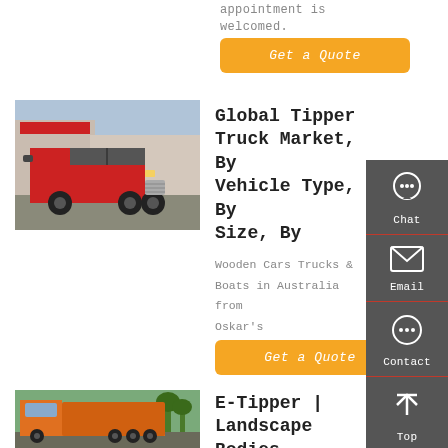appointment is welcomed.
Get a Quote
[Figure (photo): Red tractor truck (cab only) parked in a lot with industrial buildings in background]
Global Tipper Truck Market, By Vehicle Type, By Size, By
Wooden Cars Trucks & Boats in Australia from Oskar's
Get a Quote
[Figure (photo): Orange dump/tipper truck parked outdoors with trees in background]
E-Tipper | Landscape Bodies